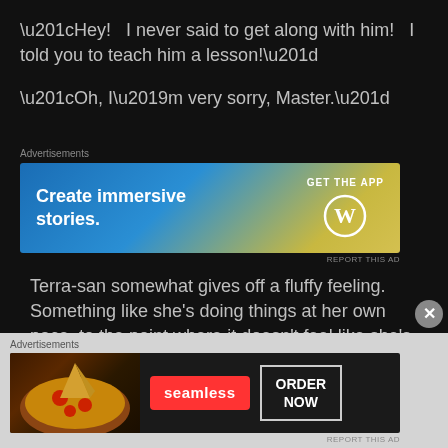“Hey!   I never said to get along with him!   I told you to teach him a lesson!”
“Oh, I’m very sorry, Master.”
[Figure (screenshot): Advertisement banner for WordPress: 'Create immersive stories. GET THE APP' with WordPress logo]
Terra-san somewhat gives off a fluffy feeling. Something like she's doing things at her own pace, to the point where it doesn't feel like she's
[Figure (screenshot): Advertisement banner for Seamless food delivery: pizza image, Seamless logo in red, ORDER NOW button]